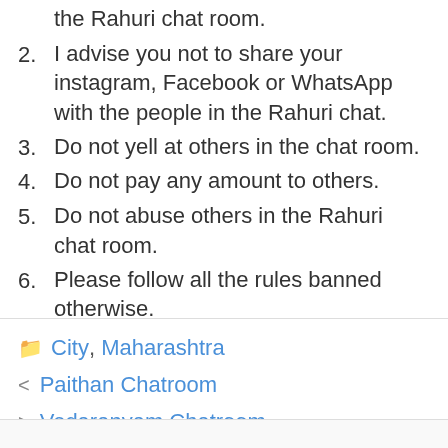the Rahuri chat room.
2. I advise you not to share your instagram, Facebook or WhatsApp with the people in the Rahuri chat.
3. Do not yell at others in the chat room.
4. Do not pay any amount to others.
5. Do not abuse others in the Rahuri chat room.
6. Please follow all the rules banned otherwise.
City, Maharashtra
< Paithan Chatroom
> Vedaranyam Chatroom